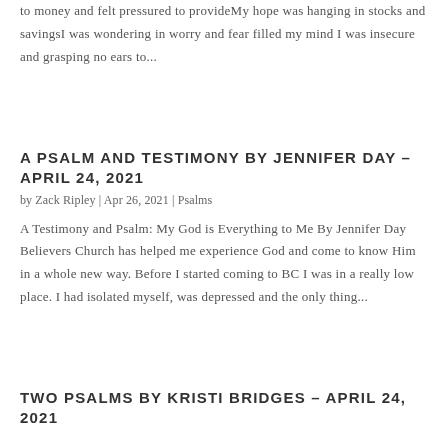to money and felt pressured to provideMy hope was hanging in stocks and savingsI was wondering in worry and fear filled my mind I was insecure and grasping no ears to...
A PSALM AND TESTIMONY BY JENNIFER DAY – APRIL 24, 2021
by Zack Ripley | Apr 26, 2021 | Psalms
A Testimony and Psalm: My God is Everything to Me By Jennifer Day Believers Church has helped me experience God and come to know Him in a whole new way. Before I started coming to BC I was in a really low place. I had isolated myself, was depressed and the only thing...
TWO PSALMS BY KRISTI BRIDGES – APRIL 24, 2021